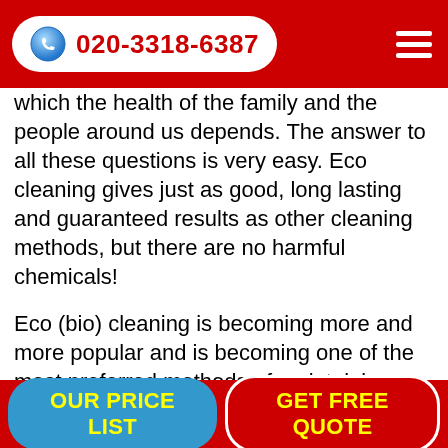020-3318-6387
which the health of the family and the people around us depends. The answer to all these questions is very easy. Eco cleaning gives just as good, long lasting and guaranteed results as other cleaning methods, but there are no harmful chemicals!
Eco (bio) cleaning is becoming more and more popular and is becoming one of the most preferred methods of maintaining hygiene in the home or restaurant. It offers great benefits to the client, with a small part of them being the lack of harmful chemicals, the lower price and the lack of any preparations.
The steam cleaning method employs the power of water heated to more than 160 degrees to produce "dry steam". It has the properties of cleaning and disinfecting every surface
OUR PRICE LIST   GET FREE QUOTE